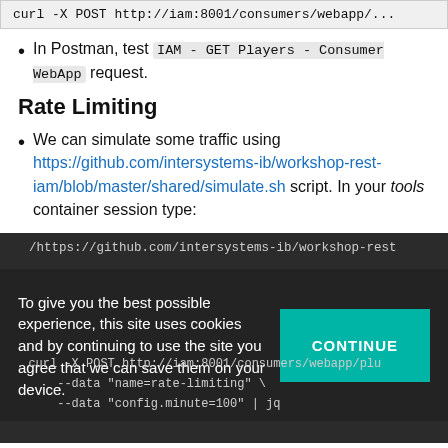curl -X POST http://iam:8001/consumers/webapp/...
In Postman, test IAM - GET Players - Consumer WebApp request.
Rate Limiting
We can simulate some traffic using https://github.com/intersystems-ib/workshop-rest-iam/blob/master/shared/simulate.sh script. In your tools container session type:
/https://github.com/intersystems-ib/workshop-rest...
To give you the best possible experience, this site uses cookies and by continuing to use the site you agree that we can save them on your device.
curl -X POST http://iam:8001/consumers/webapp/plu... --data "name=rate-limiting" \ --data "config.minute=100" | jq